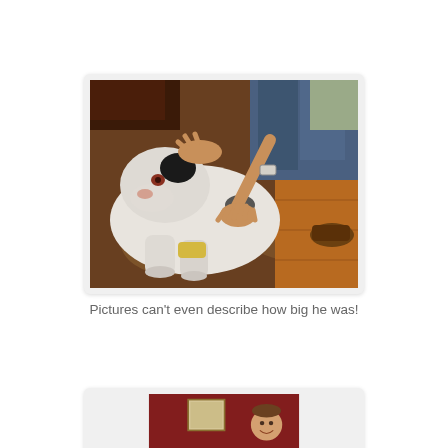[Figure (photo): A large white Great Dane dog with black spots lying on a decorative rug, with a person kneeling beside it petting it. The person is wearing jeans and a watch.]
Pictures can't even describe how big he was!
[Figure (photo): A person smiling in a room with dark red walls and a framed picture hanging on the wall behind them. Partially visible at the bottom of the page.]